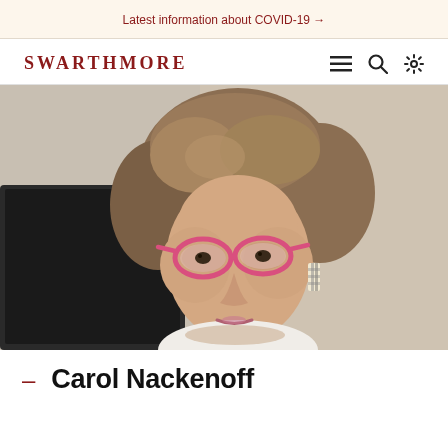Latest information about COVID-19 →
SWARTHMORE
[Figure (photo): Close-up photo of Carol Nackenoff, a woman with short curly brown hair wearing pink oval-framed glasses, looking at a computer screen, wearing a white top and striped earrings.]
— Carol Nackenoff